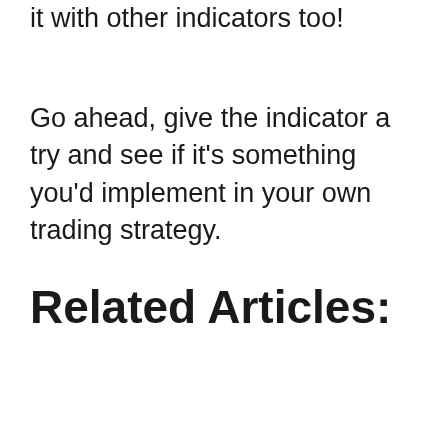it with other indicators too!
Go ahead, give the indicator a try and see if it's something you'd implement in your own trading strategy.
Related Articles: